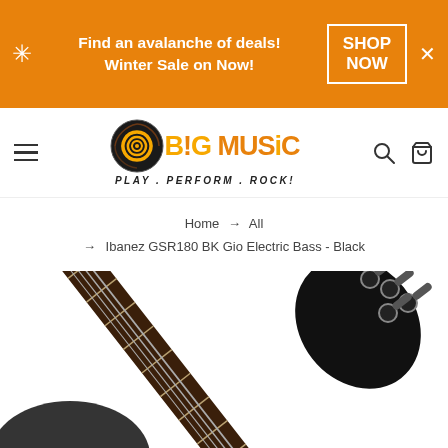Find an avalanche of deals! Winter Sale on Now! SHOP NOW
[Figure (logo): Big Music logo with spiral graphic and tagline PLAY . PERFORM . ROCK!]
Home → All → Ibanez GSR180 BK Gio Electric Bass - Black
[Figure (photo): Ibanez GSR180 BK Gio Electric Bass in Black, showing headstock and neck of the guitar against white background]